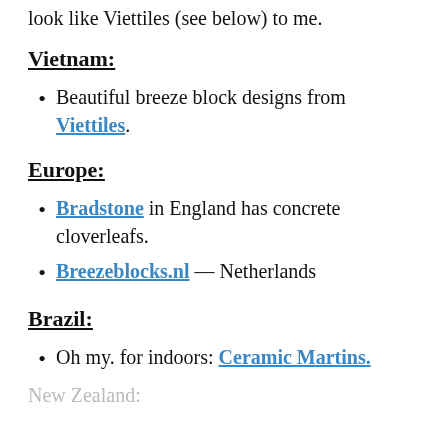look like Viettiles (see below) to me.
Vietnam:
Beautiful breeze block designs from Viettiles.
Europe:
Bradstone in England has concrete cloverleafs.
Breezeblocks.nl — Netherlands
Brazil:
Oh my. for indoors: Ceramic Martins.
New Zealand: